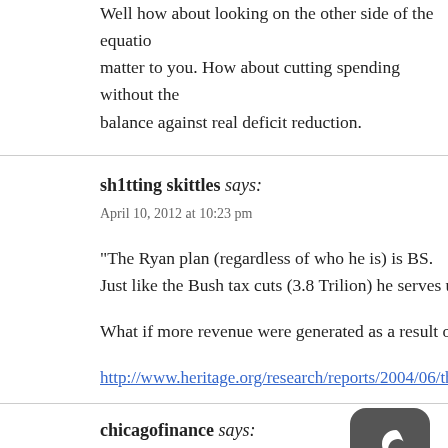Well how about looking on the other side of the equation matter to you. How about cutting spending without the balance against real deficit reduction.
sh1tting skittles says:
April 10, 2012 at 10:23 pm
“The Ryan plan (regardless of who he is) is BS. Just like the Bush tax cuts (3.8 Trilion) he serves up 4 t
What if more revenue were generated as a result of the
http://www.heritage.org/research/reports/2004/06/the-la
chicagofinance says:
April 10, 2012 at 11:40 pm
[Figure (logo): Dark gray rounded square logo with white crescent moon symbol]